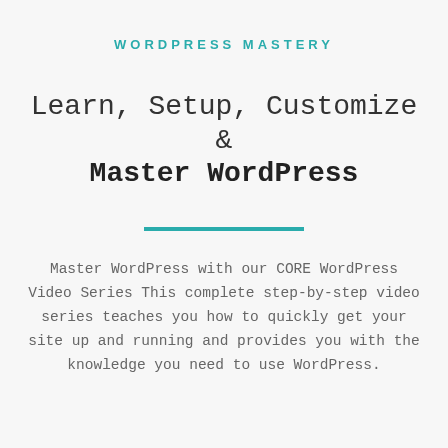WORDPRESS MASTERY
Learn, Setup, Customize & Master WordPress
Master WordPress with our CORE WordPress Video Series This complete step-by-step video series teaches you how to quickly get your site up and running and provides you with the knowledge you need to use WordPress.